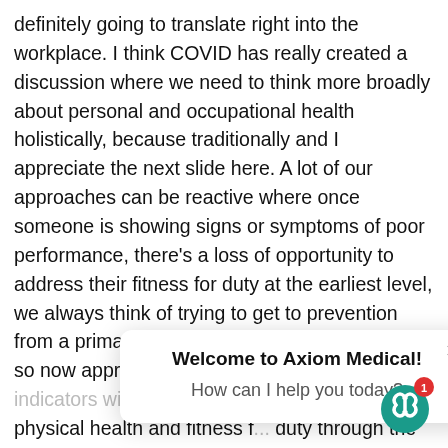definitely going to translate right into the workplace. I think COVID has really created a discussion where we need to think more broadly about personal and occupational health holistically, because traditionally and I appreciate the next slide here. A lot of our approaches can be reactive where once someone is showing signs or symptoms of poor performance, there's a loss of opportunity to address their fitness for duty at the earliest level, we always think of trying to get to prevention from a primary perspective just at its ea... And so now approach th... you may hav... leading indicators with regard to mental health and physical health and fitness f... duty through the deployment of health technology. So Dara, let me know your thoughts
[Figure (screenshot): Chat popup widget from Axiom Medical with close button (x), title 'Welcome to Axiom Medical!', subtitle 'How can I help you today?', and the Axiom Medical logo badge with a red notification badge showing '1' in the bottom right corner.]